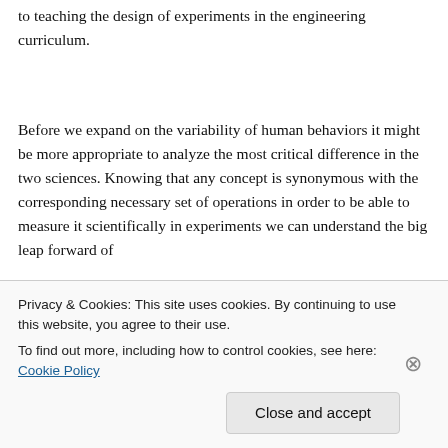to teaching the design of experiments in the engineering curriculum.
Before we expand on the variability of human behaviors it might be more appropriate to analyze the most critical difference in the two sciences. Knowing that any concept is synonymous with the corresponding necessary set of operations in order to be able to measure it scientifically in experiments we can understand the big leap forward of
Privacy & Cookies: This site uses cookies. By continuing to use this website, you agree to their use.
To find out more, including how to control cookies, see here: Cookie Policy